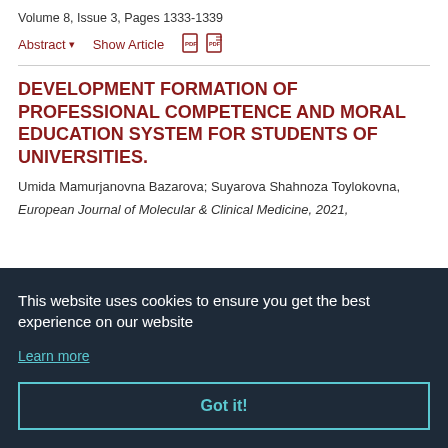Volume 8, Issue 3, Pages 1333-1339
Abstract ▾   Show Article
DEVELOPMENT FORMATION OF PROFESSIONAL COMPETENCE AND MORAL EDUCATION SYSTEM FOR STUDENTS OF UNIVERSITIES.
Umida Mamurjanovna Bazarova; Suyarova Shahnoza Toylokovna,
European Journal of Molecular & Clinical Medicine, 2021,
This website uses cookies to ensure you get the best experience on our website
Learn more
Got it!
MadzhidovaYakutkhonNabievna ,;